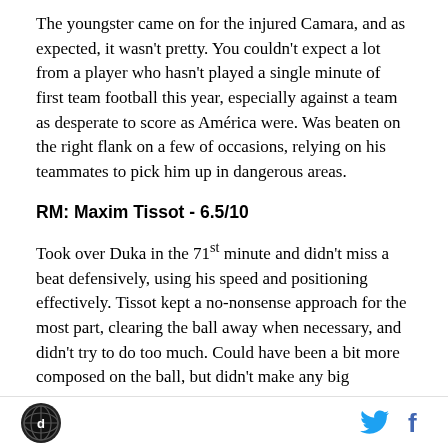The youngster came on for the injured Camara, and as expected, it wasn't pretty. You couldn't expect a lot from a player who hasn't played a single minute of first team football this year, especially against a team as desperate to score as América were. Was beaten on the right flank on a few of occasions, relying on his teammates to pick him up in dangerous areas.
RM: Maxim Tissot - 6.5/10
Took over Duka in the 71st minute and didn't miss a beat defensively, using his speed and positioning effectively. Tissot kept a no-nonsense approach for the most part, clearing the ball away when necessary, and didn't try to do too much. Could have been a bit more composed on the ball, but didn't make any big